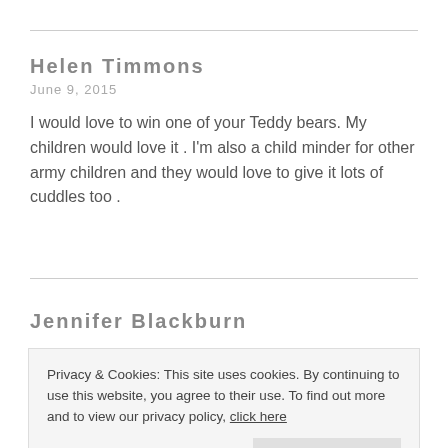Helen Timmons
June 9, 2015
I would love to win one of your Teddy bears. My children would love it . I'm also a child minder for other army children and they would love to give it lots of cuddles too .
Jennifer Blackburn
Privacy & Cookies: This site uses cookies. By continuing to use this website, you agree to their use. To find out more and to view our privacy policy, click here
Close and accept